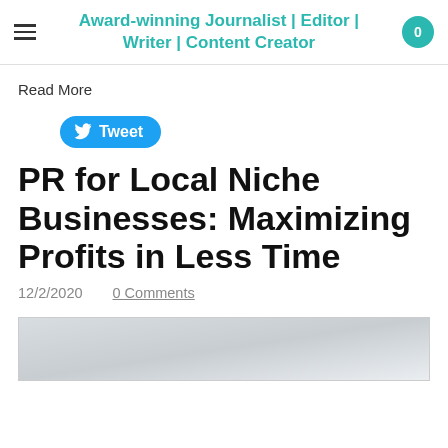Award-winning Journalist | Editor | Writer | Content Creator
Read More
[Figure (other): Tweet button with Twitter bird icon]
PR for Local Niche Businesses: Maximizing Profits in Less Time
12/2/2020    0 Comments
[Figure (photo): Partially visible article image, light gray gradient background]